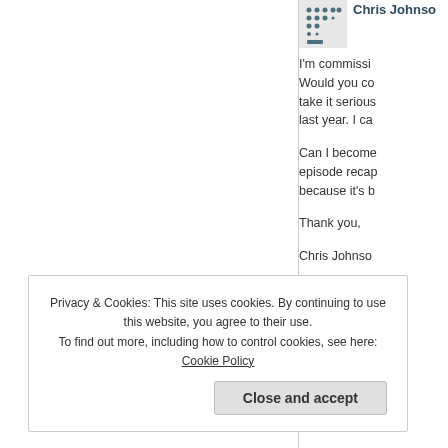Chris Johnson
I'm commissi... Would you co... take it serious... last year. I ca...

Can I become... episode recap... because it's b...

Thank you,

Chris Johnson

I'm open to di...
Reply
Privacy & Cookies: This site uses cookies. By continuing to use this website, you agree to their use.
To find out more, including how to control cookies, see here: Cookie Policy
Close and accept